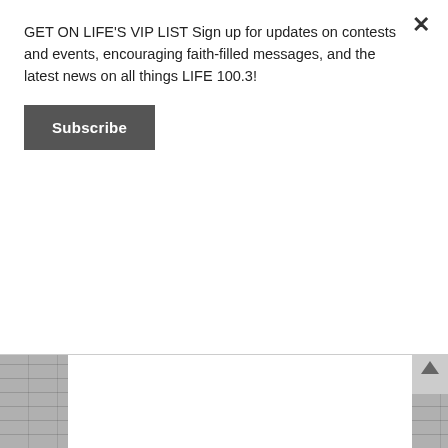GET ON LIFE'S VIP LIST Sign up for updates on contests and events, encouraging faith-filled messages, and the latest news on all things LIFE 100.3!
Subscribe
emergency as his blood sugar is so high he needs to be checked for insulin.
Posted on September 4th, 2020
wendy
I PRAYED FOR THIS!
Prayed for 12 times.
My friend, Shelley is asking for prayers for her nephew, Maverick. Maverick has SMA